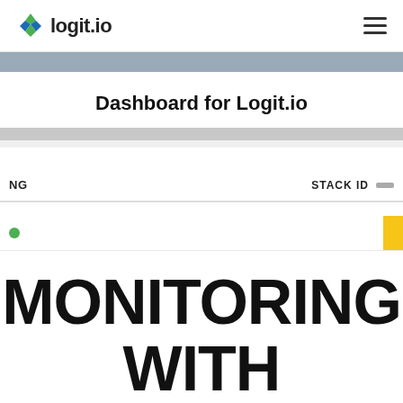[Figure (logo): logit.io logo with colored diamond/cross icon and text 'logit.io']
Dashboard for Logit.io
NG   STACK ID
MONITORING WITH LOGIT.IO